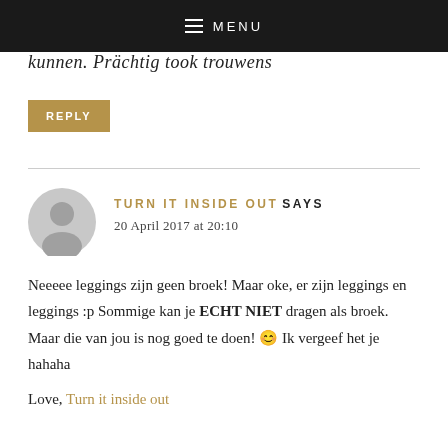MENU
kunnen. Prächtig took trouwens
REPLY
TURN IT INSIDE OUT SAYS
20 April 2017 at 20:10
Neeeee leggings zijn geen broek! Maar oke, er zijn leggings en leggings :p Sommige kan je ECHT NIET dragen als broek. Maar die van jou is nog goed te doen! 😊 Ik vergeef het je hahaha
Love, Turn it inside out